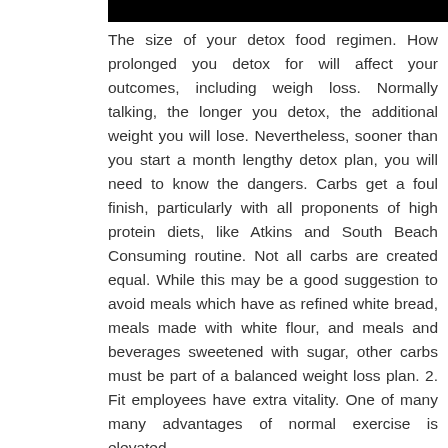The size of your detox food regimen. How prolonged you detox for will affect your outcomes, including weigh loss. Normally talking, the longer you detox, the additional weight you will lose. Nevertheless, sooner than you start a month lengthy detox plan, you will need to know the dangers. Carbs get a foul finish, particularly with all proponents of high protein diets, like Atkins and South Beach Consuming routine. Not all carbs are created equal. While this may be a good suggestion to avoid meals which have as refined white bread, meals made with white flour, and meals and beverages sweetened with sugar, other carbs must be part of a balanced weight loss plan. 2. Fit employees have extra vitality. One of many many advantages of normal exercise is elevated